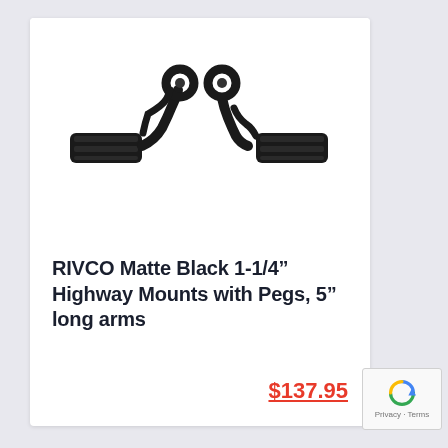[Figure (photo): Two matte black highway peg mounts with foot pegs, shown as a pair. The mounts have clamp rings at the top and angled arms extending outward with rubber-style foot pegs attached.]
RIVCO Matte Black 1-1/4” Highway Mounts with Pegs, 5” long arms
$137.95